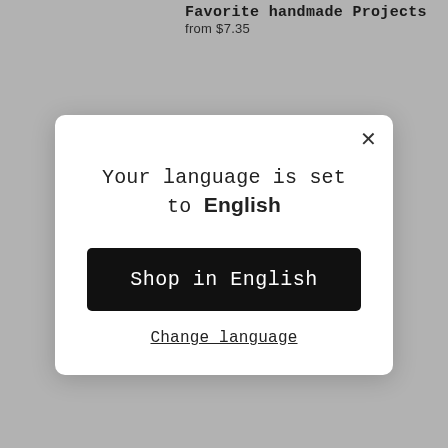Favorite handmade Projects
from $7.35
Decorative Projects
from $7.5
[Figure (screenshot): Language selection modal dialog on a gray background. Modal has a close X button, heading 'Your language is set to English', a black button 'Shop in English', and an underlined 'Change language' link.]
Your language is set to English
Shop in English
Change language